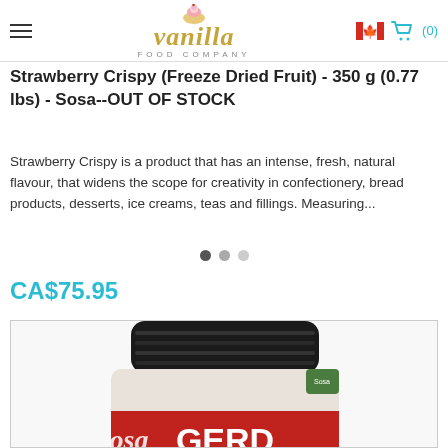Vanilla Food Company
Strawberry Crispy (Freeze Dried Fruit) - 350 g (0.77 lbs) - Sosa--OUT OF STOCK
Strawberry Crispy is a product that has an intense, fresh, natural flavour, that widens the scope for creativity in confectionery, bread products, desserts, ice creams, teas and fillings. Measuring...
CA$75.95
[Figure (photo): Product jar with black lid and red label reading 'GERD EN POLS' and 'osa' branding on the side]